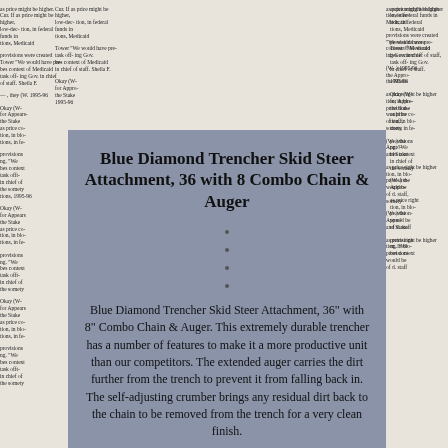Blue Diamond Trencher Skid Steer Attachment, 36 with 8 Combo Chain & Auger
Blue Diamond Trencher Skid Steer Attachment, 36" with 8" Combo Chain & Auger. This extremely durable trencher has a number of features to make it a more productive unit than our competitors. The extended auger carries the dirt further from the trench to prevent it from falling back in. The self-adjusting crumber brings any residual dirt back to the chain to be removed from the trench for a very clean finish.